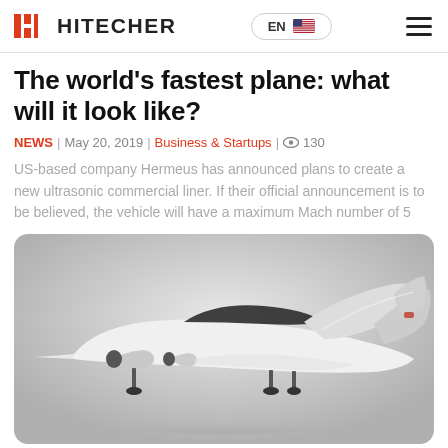HITECHER | EN
The world's fastest plane: what will it look like?
NEWS | May 20, 2019 | Business & Startups | 130
US-based company Hermeus has announced plans to create a new ultrasonic commercial liner. If their official announcement is to be believed, the vehicle will have a maximum Mach number of 5
[Figure (photo): Side-view render of a futuristic white hypersonic aircraft with a sleek body, swept wings, and landing gear, shown on a light gray gradient background.]